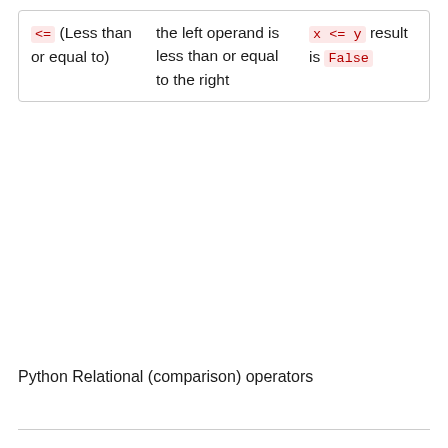| <= (Less than or equal to) | the left operand is less than or equal to the right | x <= y result is False |
Python Relational (comparison) operators